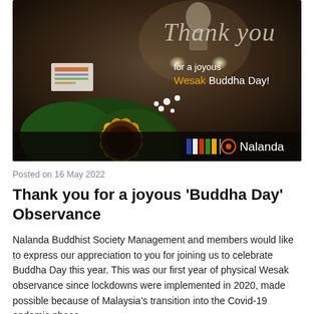[Figure (photo): A thank-you image for Wesak Buddha Day showing an orange sunflower with green leaves and white flowers in the foreground, a dimly lit Buddhist shrine in the background, with text overlay reading 'Thank you for a joyous Wesak Buddha Day!' and the Nalanda logo with Buddhist flag icons at the bottom.]
Posted on 16 May 2022
Thank you for a joyous 'Buddha Day' Observance
Nalanda Buddhist Society Management and members would like to express our appreciation to you for joining us to celebrate Buddha Day this year. This was our first year of physical Wesak observance since lockdowns were implemented in 2020, made possible because of Malaysia's transition into the Covid-19 endemic phase